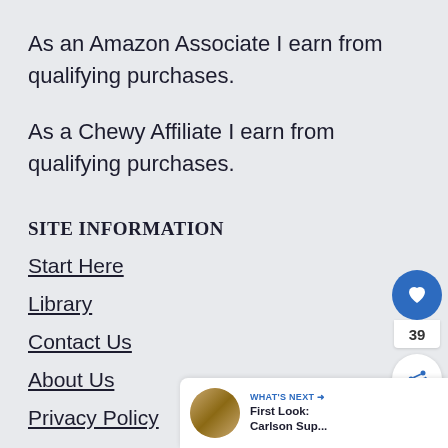As an Amazon Associate I earn from qualifying purchases.
As a Chewy Affiliate I earn from qualifying purchases.
SITE INFORMATION
Start Here
Library
Contact Us
About Us
Privacy Policy